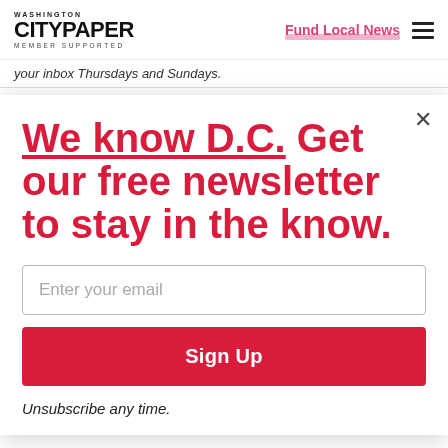Washington City Paper — MEMBER SUPPORTED | Fund Local News
your inbox Thursdays and Sundays.
We know D.C. Get our free newsletter to stay in the know.
Enter your email
Sign Up
Unsubscribe any time.